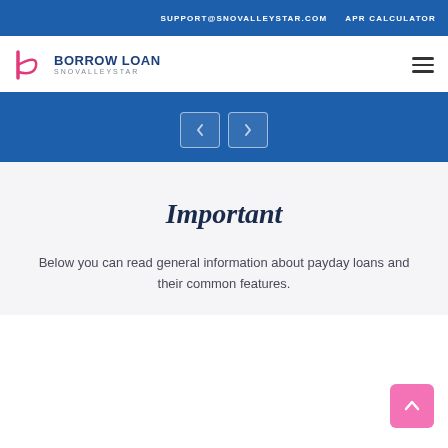SUPPORT@SNOVALLEYSTAR.COM   APR CALCULATOR
[Figure (logo): Borrow Loan Snovalleystar logo with stylized B/loop icon in pink/magenta and dark blue text]
[Figure (screenshot): Blue banner with left and right navigation arrow buttons]
Important
Below you can read general information about payday loans and their common features.